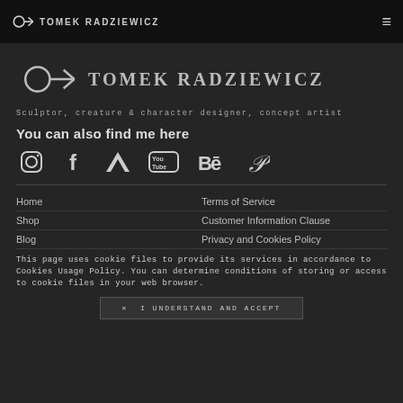TOMEK RADZIEWICZ
TOMEK RADZIEWICZ
Sculptor, creature & character designer, concept artist
You can also find me here
[Figure (infographic): Social media icons row: Instagram, Facebook, ArtStation, YouTube, Behance, Pinterest]
Home
Terms of Service
Shop
Customer Information Clause
Blog
Privacy and Cookies Policy
This page uses cookie files to provide its services in accordance to Cookies Usage Policy. You can determine conditions of storing or access to cookie files in your web browser.
✕ I UNDERSTAND AND ACCEPT